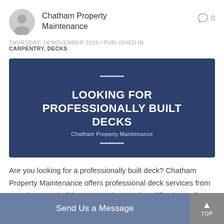Chatham Property Maintenance
THURSDAY, 14 NOVEMBER 2019 / PUBLISHED IN CARPENTRY, DECKS
[Figure (illustration): Dark blue banner image with bold white text reading 'LOOKING FOR PROFESSIONALLY BUILT DECKS' and subtitle 'Chatham Property Maintenance', with decorative horizontal line separators above and below.]
Are you looking for a professionally built deck? Chatham Property Maintenance offers professional deck services from complete new builds to renovations and modifications.  If you have made the decision a contractor
Send Us a Message